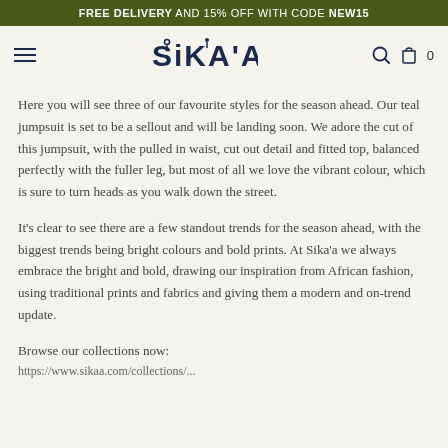FREE DELIVERY AND 15% OFF WITH CODE NEW15
[Figure (logo): SIKAA brand logo in dark navy, with navigation hamburger menu on left and search/bag icons on right]
Here you will see three of our favourite styles for the season ahead. Our teal jumpsuit is set to be a sellout and will be landing soon. We adore the cut of this jumpsuit, with the pulled in waist, cut out detail and fitted top, balanced perfectly with the fuller leg, but most of all we love the vibrant colour, which is sure to turn heads as you walk down the street.
It's clear to see there are a few standout trends for the season ahead, with the biggest trends being bright colours and bold prints. At Sika'a we always embrace the bright and bold, drawing our inspiration from African fashion, using traditional prints and fabrics and giving them a modern and on-trend update.
Browse our collections now:
https://www.sikaa.com/collections/...